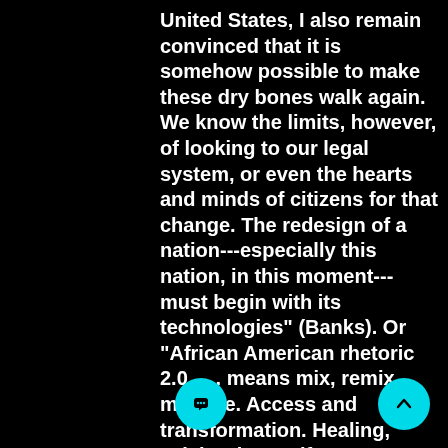United States, I also remain convinced that it is somehow possible to make these dry bones walk again. We know the limits, however, of looking to our legal system, or even the hearts and minds of citizens for that change. The redesign of a nation---especially this nation, in this moment---must begin with its technologies" (Banks). Or "African American rhetoric 2.0 . . . means mix, remix, mixtape. Access and transformation. Healing, celebration, self-examination, and critique. Community. Flow, layering, rupture. Innovation, vision, quality, tradition. Afrodigitized. Word" (Banks).